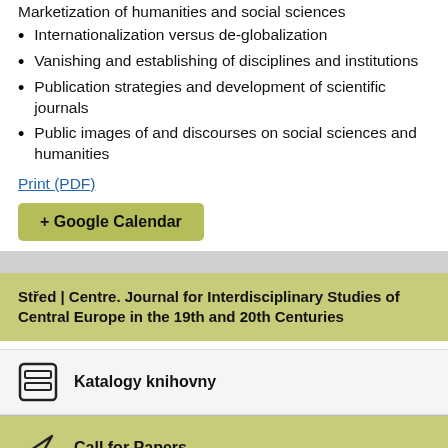Marketization of humanities and social sciences
Internationalization versus de-globalization
Vanishing and establishing of disciplines and institutions
Publication strategies and development of scientific journals
Public images of and discourses on social sciences and humanities
Print (PDF)
+ Google Calendar
Střed | Centre. Journal for Interdisciplinary Studies of Central Europe in the 19th and 20th Centuries
Katalogy knihovny
Call for Papers